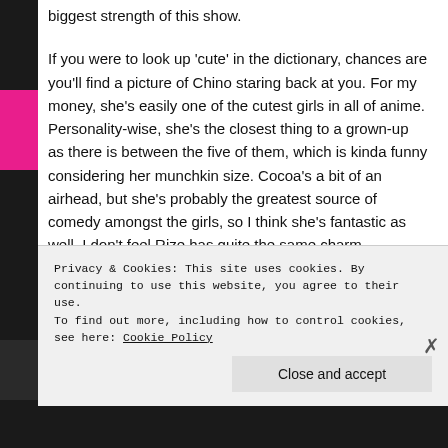biggest strength of this show.
If you were to look up 'cute' in the dictionary, chances are you'll find a picture of Chino staring back at you. For my money, she's easily one of the cutest girls in all of anime. Personality-wise, she's the closest thing to a grown-up as there is between the five of them, which is kinda funny considering her munchkin size. Cocoa's a bit of an airhead, but she's probably the greatest source of comedy amongst the girls, so I think she's fantastic as well. I don't feel Rize has quite the same charm
Privacy & Cookies: This site uses cookies. By continuing to use this website, you agree to their use.
To find out more, including how to control cookies, see here: Cookie Policy
Close and accept